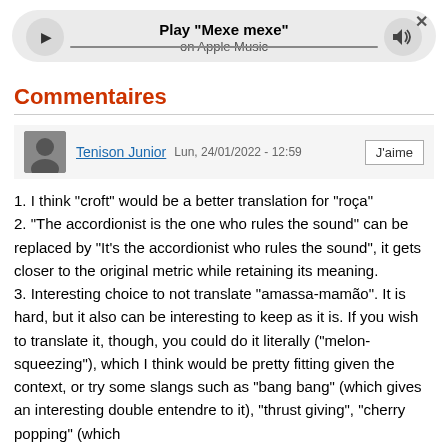[Figure (other): Music player widget showing Play 'Mexe mexe' on Apple Music with play button, progress bar, volume button, and close X button]
Commentaires
Tenison Junior   Lun, 24/01/2022 - 12:59   J'aime
1. I think "croft" would be a better translation for "roça"
2. "The accordionist is the one who rules the sound" can be replaced by "It's the accordionist who rules the sound", it gets closer to the original metric while retaining its meaning.
3. Interesting choice to not translate "amassa-mamão". It is hard, but it also can be interesting to keep as it is. If you wish to translate it, though, you could do it literally ("melon-squeezing"), which I think would be pretty fitting given the context, or try some slangs such as "bang bang" (which gives an interesting double entendre to it), "thrust giving", "cherry popping" (which